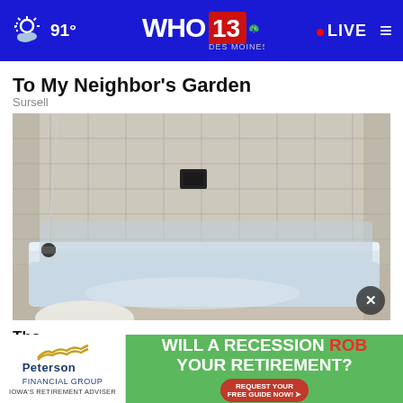91° WHO 13 DES MOINES LIVE
To My Neighbor's Garden
Sursell
[Figure (photo): Interior bathroom photograph showing a white bathtub with tiled surround. A faucet is visible on the left side. The tiles are light gray/beige with a small dark outlet or fixture on the back wall. A white toilet is partially visible at the bottom.]
Tho
in T
[Figure (other): Advertisement banner. Left side: Peterson Financial Group logo with swoosh lines and text 'IOWA'S RETIREMENT ADVISER'. Right side: Green background with text 'WILL A RECESSION ROB YOUR RETIREMENT? REQUEST YOUR FREE GUIDE NOW!']